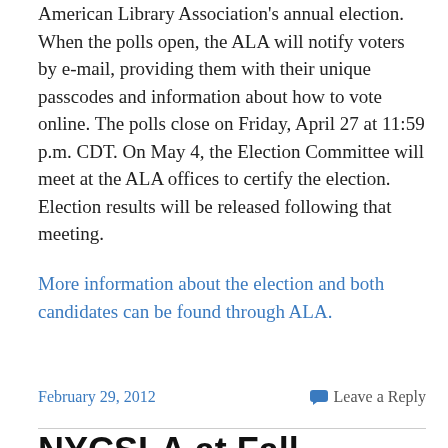American Library Association's annual election. When the polls open, the ALA will notify voters by e-mail, providing them with their unique passcodes and information about how to vote online. The polls close on Friday, April 27 at 11:59 p.m. CDT. On May 4, the Election Committee will meet at the ALA offices to certify the election. Election results will be released following that meeting.
More information about the election and both candidates can be found through ALA.
February 29, 2012
Leave a Reply
NYCSLA at Fall Library Conference